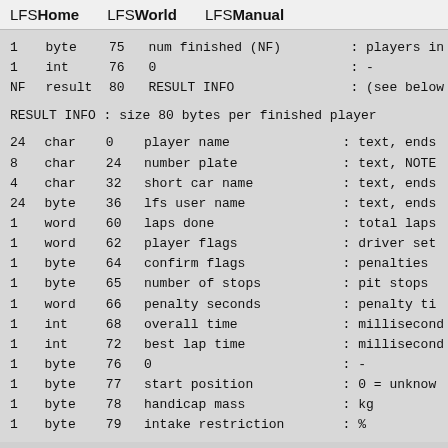LFSHome   LFSWorld   LFSManual
| 1 | byte | 75 | num finished (NF) | : players in |
| 1 | int | 76 | 0 | : - |
| NF | result | 80 | RESULT INFO | : (see below |
RESULT INFO : size 80 bytes per finished player
| 24 | char | 0 | player name | : text, ends |
| 8 | char | 24 | number plate | : text, NOTE |
| 4 | char | 32 | short car name | : text, ends |
| 24 | byte | 36 | lfs user name | : text, ends |
| 1 | word | 60 | laps done | : total laps |
| 1 | word | 62 | player flags | : driver set |
| 1 | byte | 64 | confirm flags | : penalties |
| 1 | byte | 65 | number of stops | : pit stops |
| 1 | word | 66 | penalty seconds | : penalty ti |
| 1 | int | 68 | overall time | : millisecond |
| 1 | int | 72 | best lap time | : millisecond |
| 1 | byte | 76 | 0 | : - |
| 1 | byte | 77 | start position | : 0 = unknow |
| 1 | byte | 78 | handicap mass | : kg |
| 1 | byte | 79 | intake restriction | : % |
The rest of the file is the actual MPR data
NOTES :
=======